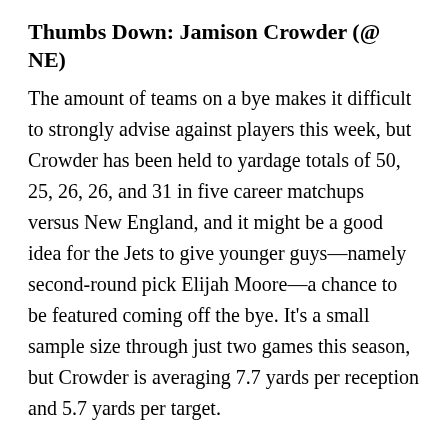Thumbs Down: Jamison Crowder (@ NE)
The amount of teams on a bye makes it difficult to strongly advise against players this week, but Crowder has been held to yardage totals of 50, 25, 26, 26, and 31 in five career matchups versus New England, and it might be a good idea for the Jets to give younger guys—namely second-round pick Elijah Moore—a chance to be featured coming off the bye. It's a small sample size through just two games this season, but Crowder is averaging 7.7 yards per reception and 5.7 yards per target.
Thumbs Down: Patriots WRs (v NYJ)